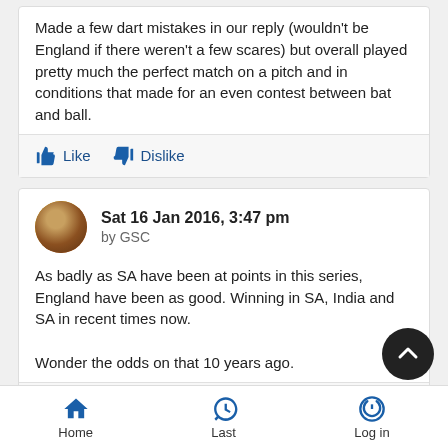Made a few dart mistakes in our reply (wouldn't be England if there weren't a few scares) but overall played pretty much the perfect match on a pitch and in conditions that made for an even contest between bat and ball.
Like  Dislike
Sat 16 Jan 2016, 3:47 pm
by GSC
As badly as SA have been at points in this series, England have been as good. Winning in SA, India and SA in recent times now.

Wonder the odds on that 10 years ago.
Like  Dislike
Home  Last  Log in